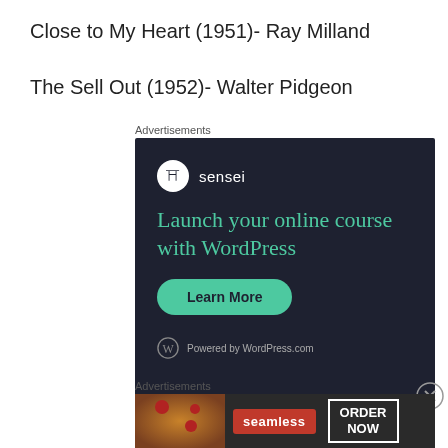Close to My Heart (1951)- Ray Milland
The Sell Out (1952)- Walter Pidgeon
Advertisements
[Figure (screenshot): Sensei advertisement: Launch your online course with WordPress. Learn More button. Powered by WordPress.com.]
[Figure (screenshot): Close button (X circle)]
Advertisements
[Figure (screenshot): Seamless food delivery advertisement with pizza image, seamless logo, and ORDER NOW button.]